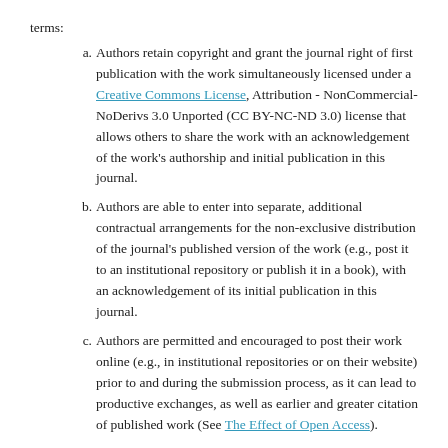terms:
Authors retain copyright and grant the journal right of first publication with the work simultaneously licensed under a Creative Commons License, Attribution - NonCommercial-NoDerivs 3.0 Unported (CC BY-NC-ND 3.0) license that allows others to share the work with an acknowledgement of the work's authorship and initial publication in this journal.
Authors are able to enter into separate, additional contractual arrangements for the non-exclusive distribution of the journal's published version of the work (e.g., post it to an institutional repository or publish it in a book), with an acknowledgement of its initial publication in this journal.
Authors are permitted and encouraged to post their work online (e.g., in institutional repositories or on their website) prior to and during the submission process, as it can lead to productive exchanges, as well as earlier and greater citation of published work (See The Effect of Open Access).